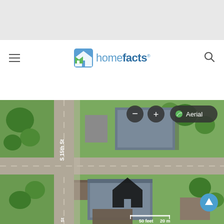[Figure (logo): homefacts logo with house icon]
[Figure (map): Aerial satellite map view of a residential property on S 15th St showing houses, trees and streets with zoom controls, Aerial button, home marker, scroll-up button, and scale bar showing 50 feet / 20 m]